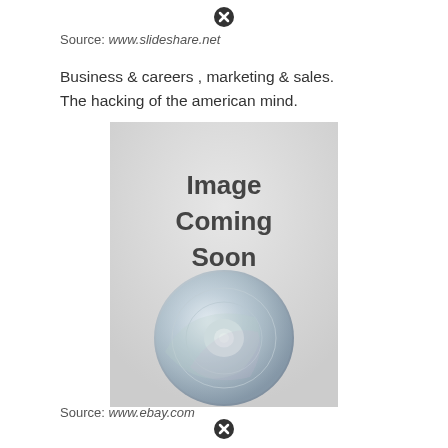[Figure (other): Close/dismiss icon (circle with X) at top center]
Source: www.slideshare.net
Business & careers , marketing & sales.
The hacking of the american mind.
[Figure (photo): Image Coming Soon placeholder showing a DVD disc on a light grey background with text 'Image Coming Soon']
Source: www.ebay.com
[Figure (other): Close/dismiss icon (circle with X) at bottom center]